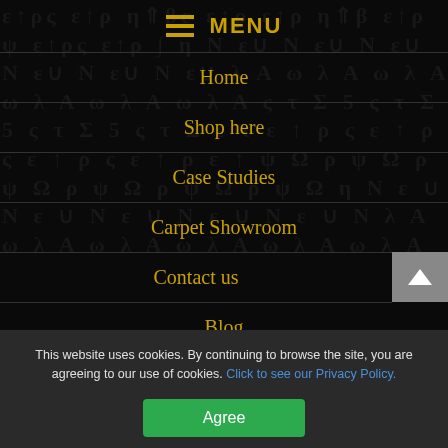MENU
Home
Shop here
Case Studies
Carpet Showroom
Contact us
Blog
This website uses cookies. By continuing to browse the site, you are agreeing to our use of cookies. Click to see our Privacy Policy.
Agree